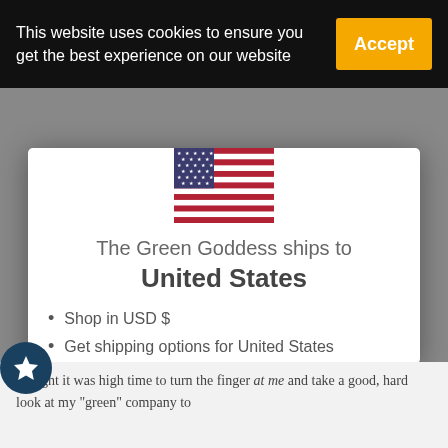This website uses cookies to ensure you get the best experience on our website
Accept
[Figure (illustration): US flag icon]
The Green Goddess ships to United States
Shop in USD $
Get shipping options for United States
Shop now
Change shipping country
thought it was high time to turn the finger at me and take a good, hard look at my "green" company to